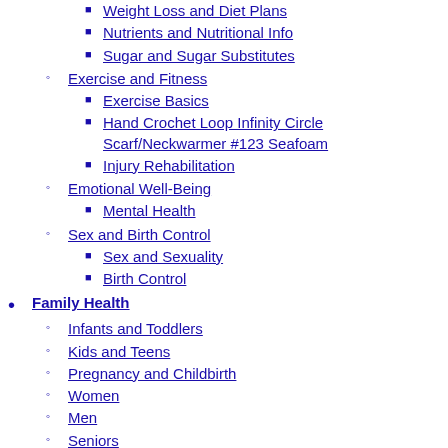Weight Loss and Diet Plans
Nutrients and Nutritional Info
Sugar and Sugar Substitutes
Exercise and Fitness
Exercise Basics
Hand Crochet Loop Infinity Circle Scarf/Neckwarmer #123 Seafoam
Injury Rehabilitation
Emotional Well-Being
Mental Health
Sex and Birth Control
Sex and Sexuality
Birth Control
Family Health
Infants and Toddlers
Kids and Teens
Pregnancy and Childbirth
Women
Men
Seniors
Your Health Resources
Healthcare Management
Insurance & Bills
Bundle 22 items Jumper LA-Shirts Shirts Boy Size 80/86 h&m Next